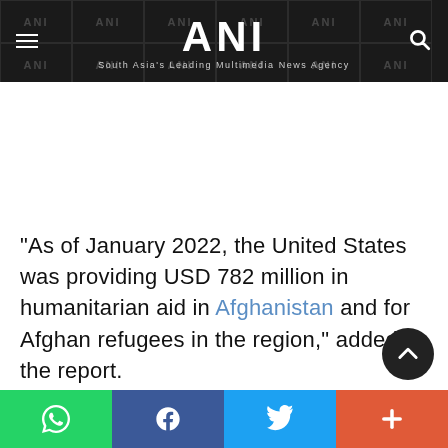ANI — South Asia's Leading Multimedia News Agency
"As of January 2022, the United States was providing USD 782 million in humanitarian aid in Afghanistan and for Afghan refugees in the region," added the report.
[Figure (screenshot): Bottom social share bar with WhatsApp, Facebook, Twitter, and more buttons]